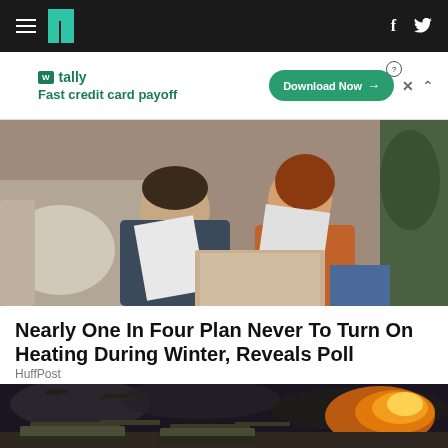HuffPost navigation bar with hamburger menu, logo, Facebook and Twitter icons
[Figure (other): Tally advertisement banner: Fast credit card payoff, Download Now button]
[Figure (photo): Couple sitting on sofa looking at papers and laptop]
Nearly One In Four Plan Never To Turn On Heating During Winter, Reveals Poll
HuffPost
[Figure (photo): Military tanks and aircraft in a battle scene with fire and smoke]